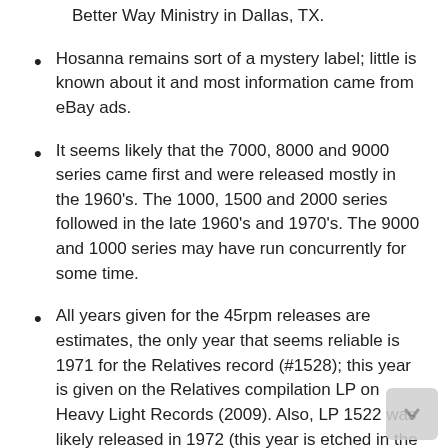Better Way Ministry in Dallas, TX.
Hosanna remains sort of a mystery label; little is known about it and most information came from eBay ads.
It seems likely that the 7000, 8000 and 9000 series came first and were released mostly in the 1960’s. The 1000, 1500 and 2000 series followed in the late 1960’s and 1970’s. The 9000 and 1000 series may have run concurrently for some time.
All years given for the 45rpm releases are estimates, the only year that seems reliable is 1971 for the Relatives record (#1528); this year is given on the Relatives compilation LP on Heavy Light Records (2009). Also, LP 1522 was likely released in 1972 (this year is etched in the dead wax).
Gene West (#8018) is Gean West who organized the Relatives in 1970 with his brother Tommy. The Southern-Aires (with Gean West) recorded as the